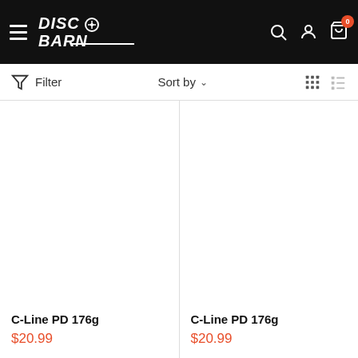[Figure (screenshot): Disc Barn website header with hamburger menu, logo, search icon, account icon, and cart icon with 0 badge]
Filter   Sort by   grid/list view icons
C-Line PD 176g
$20.99
C-Line PD 176g
$20.99